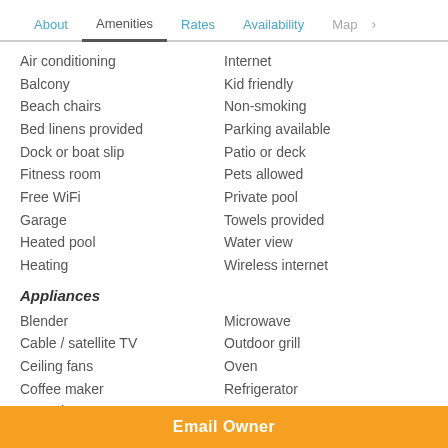About  Amenities  Rates  Availability  Map
Air conditioning
Balcony
Beach chairs
Bed linens provided
Dock or boat slip
Fitness room
Free WiFi
Garage
Heated pool
Heating
Internet
Kid friendly
Non-smoking
Parking available
Patio or deck
Pets allowed
Private pool
Towels provided
Water view
Wireless internet
Appliances
Blender
Cable / satellite TV
Ceiling fans
Coffee maker
DVD player
Microwave
Outdoor grill
Oven
Refrigerator
Stove
Email Owner